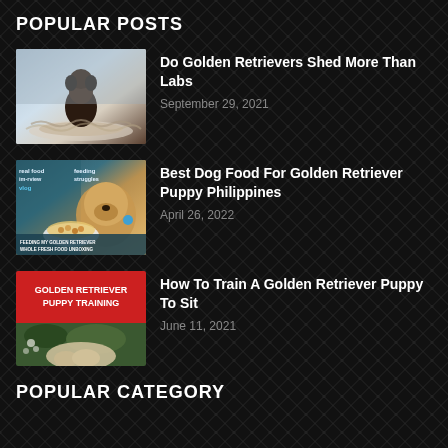POPULAR POSTS
[Figure (photo): Thumbnail of a dark lab dog sitting on a pile of shed fur]
Do Golden Retrievers Shed More Than Labs
September 29, 2021
[Figure (photo): Thumbnail of a golden retriever puppy with food bowl, text overlay about feeding]
Best Dog Food For Golden Retriever Puppy Philippines
April 26, 2022
[Figure (photo): Thumbnail with red banner reading GOLDEN RETRIEVER PUPPY TRAINING and golden retriever below]
How To Train A Golden Retriever Puppy To Sit
June 11, 2021
POPULAR CATEGORY